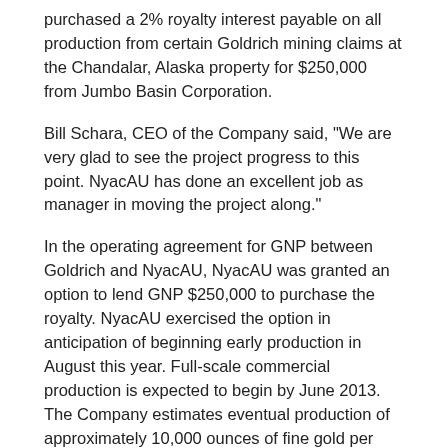purchased a 2% royalty interest payable on all production from certain Goldrich mining claims at the Chandalar, Alaska property for $250,000 from Jumbo Basin Corporation.
Bill Schara, CEO of the Company said, "We are very glad to see the project progress to this point. NyacAU has done an excellent job as manager in moving the project along."
In the operating agreement for GNP between Goldrich and NyacAU, NyacAU was granted an option to lend GNP $250,000 to purchase the royalty. NyacAU exercised the option in anticipation of beginning early production in August this year. Full-scale commercial production is expected to begin by June 2013. The Company estimates eventual production of approximately 10,000 ounces of fine gold per season, but this could be significantly increased if a second gold recovery plant is placed in service. Goldrich has not defined a mineral reserve according to SEC Industry Guide 7 criteria. However, based on drilling of the placer deposit to date and the anticipated production rate, Goldrich estimates the mine life will be approximately 25 years. The placer deposit is open to drilling in three directions and